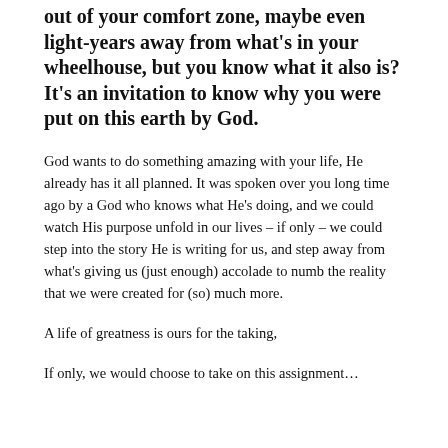out of your comfort zone, maybe even light-years away from what's in your wheelhouse, but you know what it also is? It's an invitation to know why you were put on this earth by God.
God wants to do something amazing with your life, He already has it all planned. It was spoken over you long time ago by a God who knows what He's doing, and we could watch His purpose unfold in our lives – if only – we could step into the story He is writing for us, and step away from what's giving us (just enough) accolade to numb the reality that we were created for (so) much more.
A life of greatness is ours for the taking,
If only, we would choose to take on this assignment...